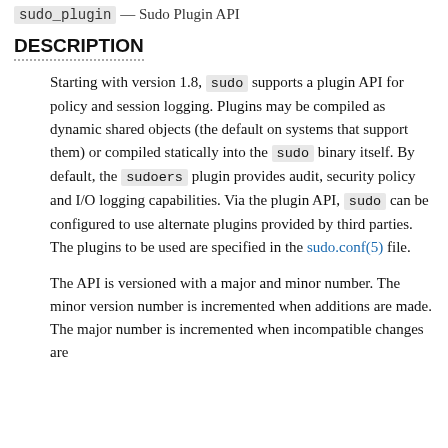sudo_plugin — Sudo Plugin API
DESCRIPTION
Starting with version 1.8, sudo supports a plugin API for policy and session logging. Plugins may be compiled as dynamic shared objects (the default on systems that support them) or compiled statically into the sudo binary itself. By default, the sudoers plugin provides audit, security policy and I/O logging capabilities. Via the plugin API, sudo can be configured to use alternate plugins provided by third parties. The plugins to be used are specified in the sudo.conf(5) file.
The API is versioned with a major and minor number. The minor version number is incremented when additions are made. The major number is incremented when incompatible changes are